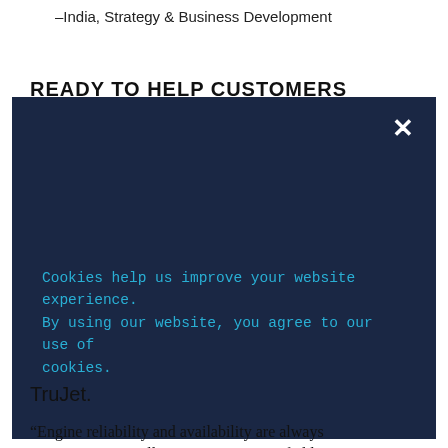–India, Strategy & Business Development
READY TO HELP CUSTOMERS EXPAND
[Figure (screenshot): Cookie consent overlay with dark navy background (#1a2744), a white X close button in the top-right corner, and cyan/teal text reading: 'Cookies help us improve your website experience. By using our website, you agree to our use of cookies.']
TruJet.
“Engine reliability and availability are always important, especially at remote or greenfield